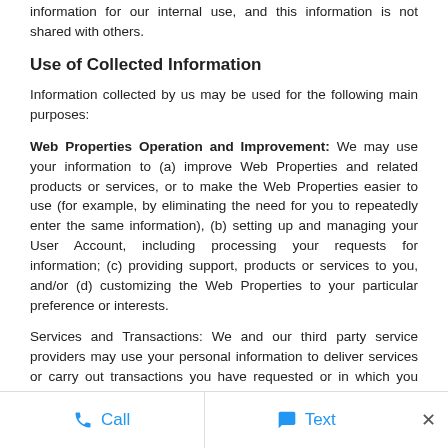information for our internal use, and this information is not shared with others.
Use of Collected Information
Information collected by us may be used for the following main purposes:
Web Properties Operation and Improvement: We may use your information to (a) improve Web Properties and related products or services, or to make the Web Properties easier to use (for example, by eliminating the need for you to repeatedly enter the same information), (b) setting up and managing your User Account, including processing your requests for information; (c) providing support, products or services to you, and/or (d) customizing the Web Properties to your particular preference or interests.
Services and Transactions: We and our third party service providers may use your personal information to deliver services or carry out transactions you have requested or in which you may be interested.
Communications: We may use your personal
Call   Text